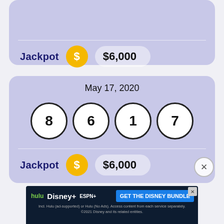Jackpot  $6,000
May 17, 2020
8  6  1  7
Jackpot  $6,000
[Figure (screenshot): Hulu Disney+ ESPN+ GET THE DISNEY BUNDLE advertisement banner. Text: Incl. Hulu (ad-supported) or Hulu (No Ads). Access content from each service separately. ©2021 Disney and its related entities.]
May 16, 2020